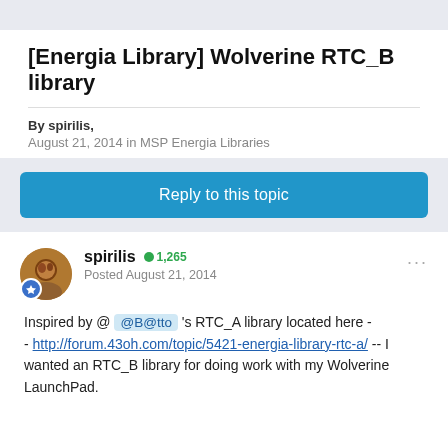[Energia Library] Wolverine RTC_B library
By spirilis,
August 21, 2014 in MSP Energia Libraries
Reply to this topic
spirilis  1,265
Posted August 21, 2014
Inspired by @  @B@tto  's RTC_A library located here - - http://forum.43oh.com/topic/5421-energia-library-rtc-a/ -- I wanted an RTC_B library for doing work with my Wolverine LaunchPad.